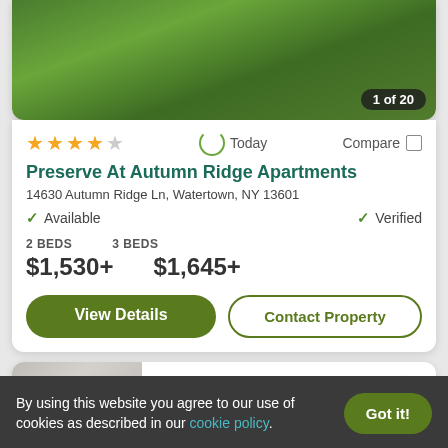[Figure (photo): Aerial/drone photo of green treetops with badge '1 of 20' in bottom right corner]
★★★★☆  ↻ Today   Compare □
Preserve At Autumn Ridge Apartments
14630 Autumn Ridge Ln, Watertown, NY 13601
✓ Available   ✓ Verified
2 BEDS  $1,530+    3 BEDS  $1,645+
View Details   Contact Property
Resident Rated
By using this website you agree to our use of cookies as described in our cookie policy.